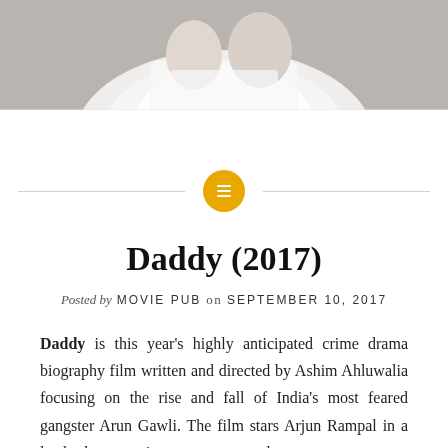[Figure (photo): A partial photo of a person in a white shirt, cropped at the top of the page]
Daddy (2017)
Posted by MOVIE PUB on SEPTEMBER 10, 2017
Daddy is this year's highly anticipated crime drama biography film written and directed by Ashim Ahluwalia focusing on the rise and fall of India's most feared gangster Arun Gawli. The film stars Arjun Rampal in a lead role portraying gangster-turned-